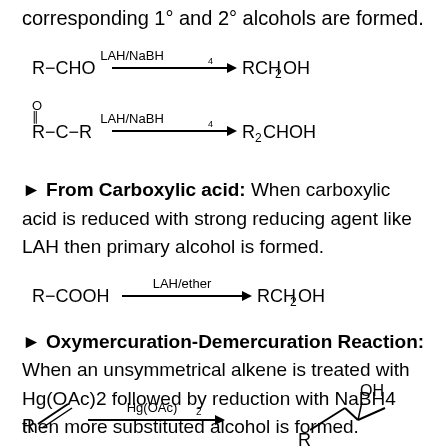corresponding 1° and 2° alcohols are formed.
[Figure (schematic): Two chemical reaction schemes: 1) R-CHO reacts with LAH/NaBH4 to form RCH2OH; 2) R-C(=O)-R reacts with LAH/NaBH4 to form R2CHOH]
► From Carboxylic acid: When carboxylic acid is reduced with strong reducing agent like LAH then primary alcohol is formed.
[Figure (schematic): R-COOH reacts with LAH/ether to form RCH2OH]
► Oxymercuration-Demercuration Reaction: When an unsymmetrical alkene is treated with Hg(OAc)2 followed by reduction with NaBH4 then more substituted alcohol is formed.
[Figure (schematic): Alkene R reacts with Hg(OAc)2 to form alcohol product with OH group]